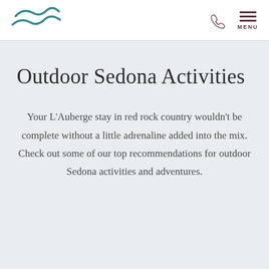L'Auberge de Sedona — navigation header with logo, phone icon, and menu
Outdoor Sedona Activities
Your L'Auberge stay in red rock country wouldn't be complete without a little adrenaline added into the mix. Check out some of our top recommendations for outdoor Sedona activities and adventures.